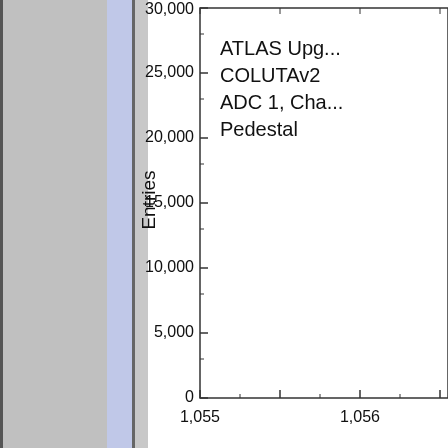[Figure (continuous-plot): Partial histogram plot showing ATLAS Upgrade COLUTAv2 ADC 1, Channel Pedestal data. Y-axis labeled 'Entries' with ticks at 0, 5000, 10000, 15000, 20000, 25000, 30000. X-axis shows values starting at 1,055 and 1,056. Left portion shows grey bars (histogram data) and a blue/lavender vertical band. The plot is cropped on the right side.]